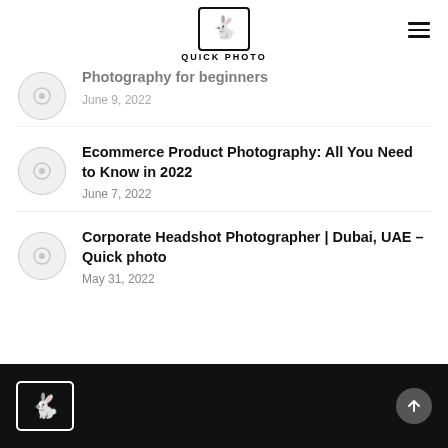QUICK PHOTO
Photography for beginners
June 9, 2022
Ecommerce Product Photography: All You Need to Know in 2022
June 7, 2022
Corporate Headshot Photographer | Dubai, UAE – Quick photo
May 31, 2022
Quick Photo footer with back-to-top button